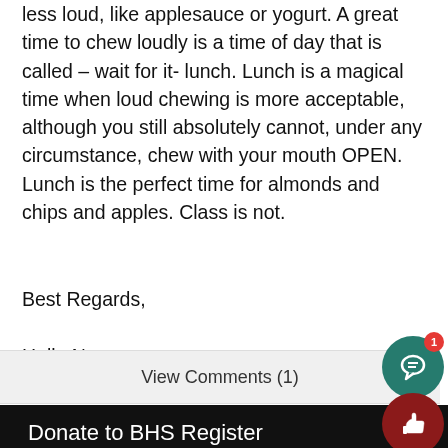less loud, like applesauce or yogurt. A great time to chew loudly is a time of day that is called – wait for it- lunch. Lunch is a magical time when loud chewing is more acceptable, although you still absolutely cannot, under any circumstance, chew with your mouth OPEN. Lunch is the perfect time for almonds and chips and apples. Class is not.
Best Regards,
Halle Newman
View Comments (1)
Donate to BHS Register